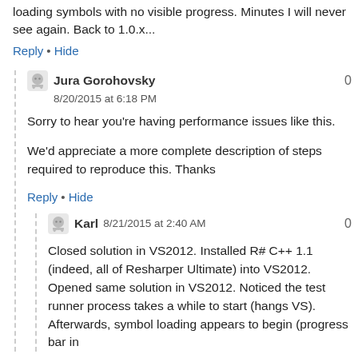loading symbols with no visible progress. Minutes I will never see again. Back to 1.0.x...
Reply • Hide
Jura Gorohovsky
8/20/2015 at 6:18 PM
0
Sorry to hear you're having performance issues like this.

We'd appreciate a more complete description of steps required to reproduce this. Thanks
Reply • Hide
Karl  8/21/2015 at 2:40 AM
0
Closed solution in VS2012. Installed R# C++ 1.1 (indeed, all of Resharper Ultimate) into VS2012. Opened same solution in VS2012. Noticed the test runner process takes a while to start (hangs VS). Afterwards, symbol loading appears to begin (progress bar in